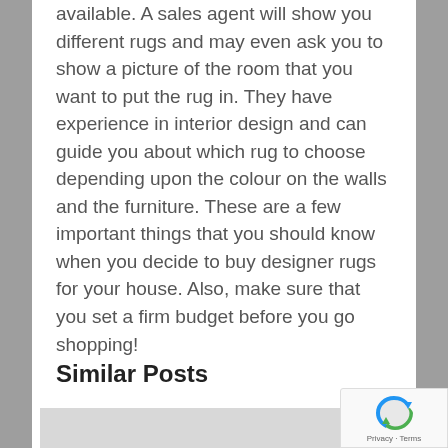available. A sales agent will show you different rugs and may even ask you to show a picture of the room that you want to put the rug in. They have experience in interior design and can guide you about which rug to choose depending upon the colour on the walls and the furniture. These are a few important things that you should know when you decide to buy designer rugs for your house. Also, make sure that you set a firm budget before you go shopping!
Similar Posts
[Figure (photo): Gray placeholder image for a similar post thumbnail]